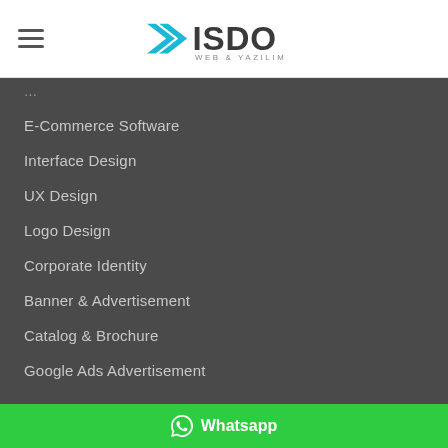[Figure (logo): ISDO Web & Yazilim logo with teal arrow and dark text, hamburger menu icon on left]
E-Commerce Software
Interface Design
UX Design
Logo Design
Corporate Identity
Banner & Advertisement
Catalog & Brochure
Google Ads Advertisement
Services
Instagramm Advertisements
Whatsapp